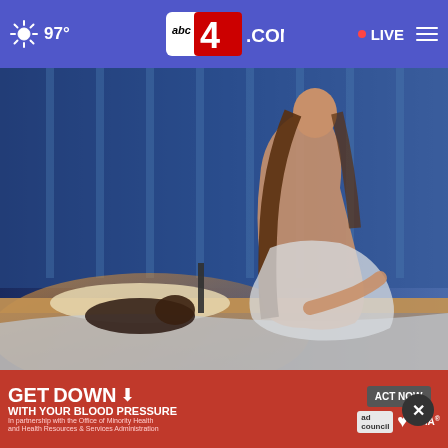97° abc4.COM • LIVE
[Figure (photo): Woman sitting up in bed at night, man lying beside her, blue-tinted bedroom scene]
Hidden Signals You Have Mental Problems. Take the Quiz Now
Menta
[Figure (infographic): GET DOWN WITH YOUR BLOOD PRESSURE advertisement banner. In partnership with the Office of Minority Health and Health Resources & Services Administration. ACT NOW button. ad council, American Heart Association, AMA logos.]